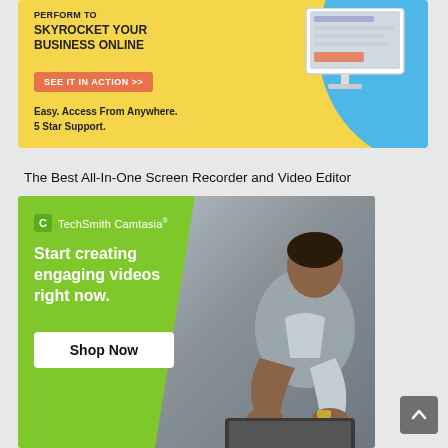[Figure (illustration): Yellow background advertisement banner with blue accent shape, text 'SKYROCKET YOUR BUSINESS ONLINE', orange 'SEE IT IN ACTION >>' button, subtext 'Easy. Access From Anywhere. 5 Star Support.', and a monitor/computer illustration on the right.]
The Best All-In-One Screen Recorder and Video Editor
[Figure (photo): TechSmith Camtasia advertisement. Green and grey background with a man working on a laptop. Text reads: 'Start creating engaging videos right now.' with a 'Shop Now' button.]